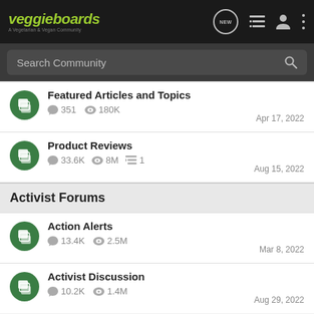veggieboards - A Vegetarian & Vegan Community
Search Community
Featured Articles and Topics | 351 | 180K | Apr 17, 2022
Product Reviews | 33.6K | 8M | 1 | Aug 15, 2022
Activist Forums
Action Alerts | 13.4K | 2.5M | Mar 8, 2022
Activist Discussion | 10.2K | 1.4M | Aug 29, 2022